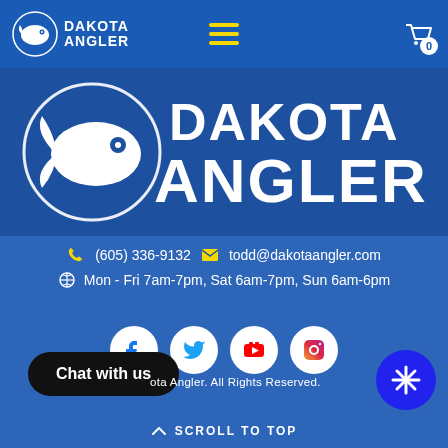Dakota Angler - Navigation bar with logo, hamburger menu, and cart (0 items)
[Figure (logo): Large Dakota Angler logo on blue background — stylized fish icon with text DAKOTA ANGLER in white block letters]
(605) 336-9132   todd@dakotaangler.com
Mon - Fri 7am-7pm, Sat 6am-7pm, Sun 6am-6pm
[Figure (other): Social media icons: Facebook, Twitter, YouTube, Instagram — white circles on blue background]
Chat with us
ota Angler. All Rights Reserved.
SCROLL TO TOP